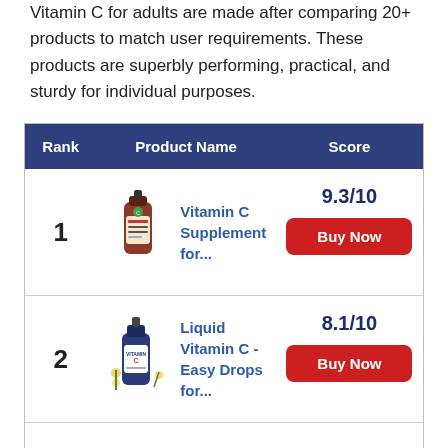Vitamin C for adults are made after comparing 20+ products to match user requirements. These products are superbly performing, practical, and sturdy for individual purposes.
| Rank | Product Name | Score |
| --- | --- | --- |
| 1 | Vitamin C Supplement for... | 9.3/10
Buy Now |
| 2 | Liquid Vitamin C - Easy Drops for... | 8.1/10
Buy Now |